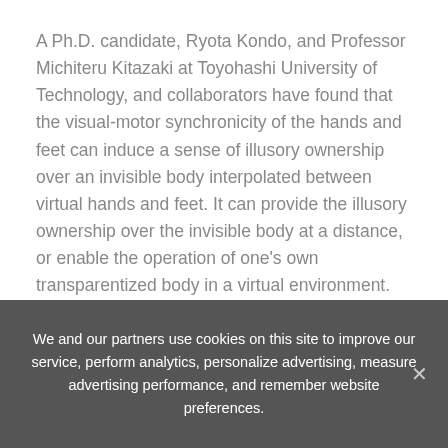A Ph.D. candidate, Ryota Kondo, and Professor Michiteru Kitazaki at Toyohashi University of Technology, and collaborators have found that the visual-motor synchronicity of the hands and feet can induce a sense of illusory ownership over an invisible body interpolated between virtual hands and feet. It can provide the illusory ownership over the invisible body at a distance, or enable the operation of one’s own transparentized body in a virtual environment.
Illusory body ownership can be induced by visual-tactile synchronicity such as the “rubber hand illusion” (a passive method) and by visual-motor synchronicity such
We and our partners use cookies on this site to improve our service, perform analytics, personalize advertising, measure advertising performance, and remember website preferences.